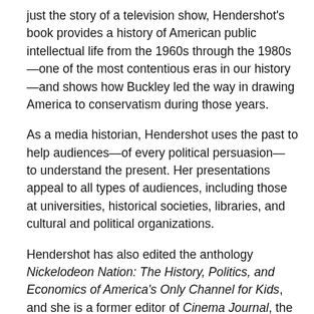just the story of a television show, Hendershot's book provides a history of American public intellectual life from the 1960s through the 1980s—one of the most contentious eras in our history—and shows how Buckley led the way in drawing America to conservatism during those years.
As a media historian, Hendershot uses the past to help audiences—of every political persuasion— to understand the present. Her presentations appeal to all types of audiences, including those at universities, historical societies, libraries, and cultural and political organizations.
Hendershot has also edited the anthology Nickelodeon Nation: The History, Politics, and Economics of America's Only Channel for Kids, and she is a former editor of Cinema Journal, the official publication of the Society for Cinema and Media Studies. Hendershot received her BA from Yale University and her MA and PhD from the University of Rochester.  She has held fellowships at Harvard